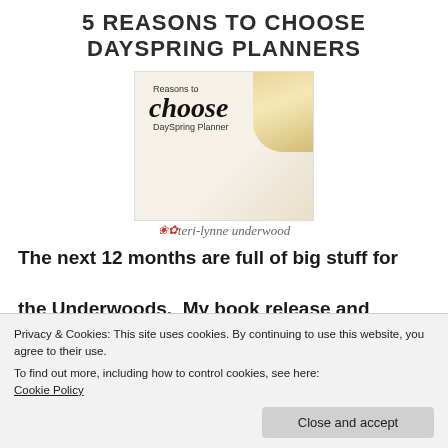5 REASONS TO CHOOSE DAYSPRING PLANNERS
[Figure (illustration): Decorative image showing a planner cover with script text reading 'Reasons to choose DaySpring Planner' with gold decorative elements in the background]
[Figure (logo): Script logo reading 'teri-lynne underwood' with small decorative floral elements in red]
The next 12 months are full of big stuff for the Underwoods.  My book release and
and it's not unusual for me to switch
Privacy & Cookies: This site uses cookies. By continuing to use this website, you agree to their use.
To find out more, including how to control cookies, see here:
Cookie Policy
Close and accept